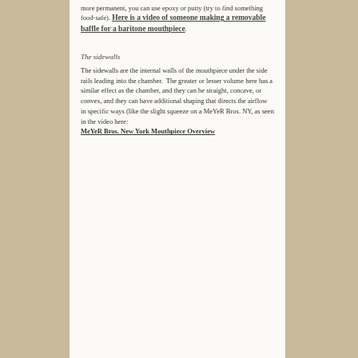more permanent, you can use epoxy or putty (try to find something food-safe).
Here is a video of someone making a removable baffle for a baritone mouthpiece.
The sidewalls
The sidewalls are the internal walls of the mouthpiece under the side rails leading into the chamber.  The greater or lesser volume here has a similar effect as the chamber, and they can be straight, concave, or convex, and they can have additional shaping that directs the airflow in specific ways (like the slight squeeze on a MeYeR Bros. NY, as seen in the video here:
MeYeR Bros. New York Mouthpiece Overview